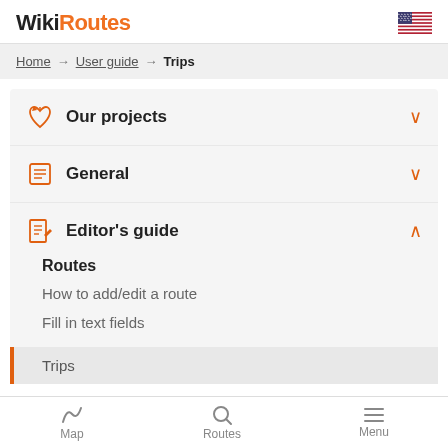WikiRoutes
Home → User guide → Trips
Our projects
General
Editor's guide
Routes
How to add/edit a route
Fill in text fields
Trips
Map   Routes   Menu